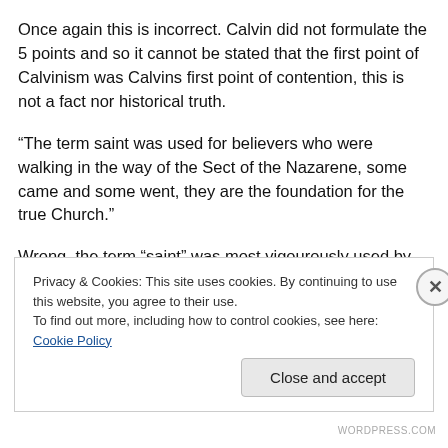Once again this is incorrect. Calvin did not formulate the 5 points and so it cannot be stated that the first point of Calvinism was Calvins first point of contention, this is not a fact nor historical truth.
“The term saint was used for believers who were walking in the way of the Sect of the Nazarene, some came and some went, they are the foundation for the true Church.”
Wrong, the term “saint” was most vigourously used by the Apostle Paul to identify and refer to ALL Christians world-wide as found in most of his epistles, lets take a look a
Privacy & Cookies: This site uses cookies. By continuing to use this website, you agree to their use.
To find out more, including how to control cookies, see here: Cookie Policy